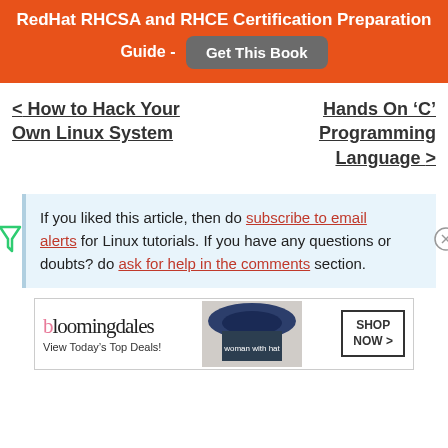RedHat RHCSA and RHCE Certification Preparation Guide - Get This Book
‹ How to Hack Your Own Linux System
Hands On 'C' Programming Language ›
If you liked this article, then do subscribe to email alerts for Linux tutorials. If you have any questions or doubts? do ask for help in the comments section.
[Figure (advertisement): Bloomingdale's advertisement: View Today's Top Deals! SHOP NOW >]